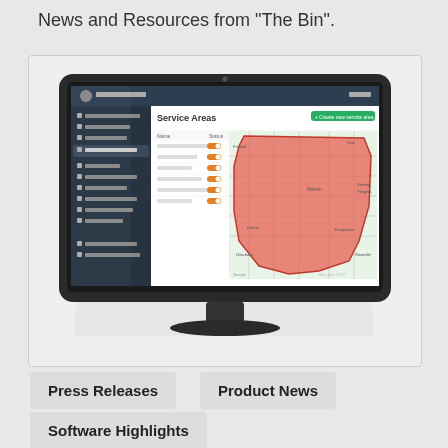News and Resources from "The Bin".
[Figure (screenshot): iMac monitor displaying a web application interface showing a 'Service Areas' page with a sidebar navigation menu, a data table with orange toggle switches, and a red shaded geographic map overlay on the right side.]
Press Releases
Product News
Software Highlights